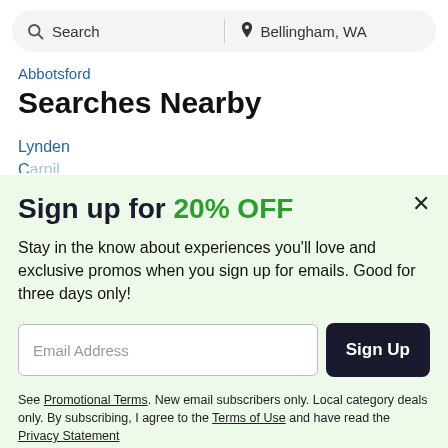Search | Bellingham, WA
Abbotsford
Searches Nearby
Lynden
Sign up for 20% OFF
Stay in the know about experiences you'll love and exclusive promos when you sign up for emails. Good for three days only!
Email Address
Sign Up
See Promotional Terms. New email subscribers only. Local category deals only. By subscribing, I agree to the Terms of Use and have read the Privacy Statement